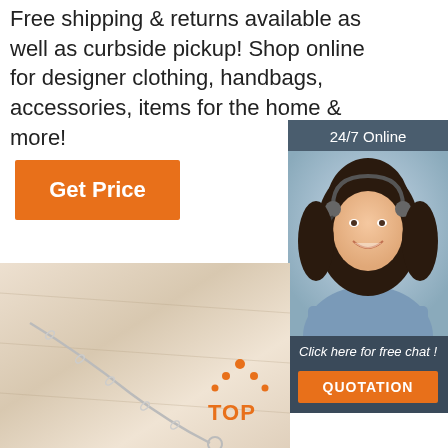Free shipping & returns available as well as curbside pickup! Shop online for designer clothing, handbags, accessories, items for the home & more!
[Figure (infographic): Orange 'Get Price' button]
[Figure (infographic): Sidebar with '24/7 Online', photo of customer service woman with headset, 'Click here for free chat!' text, and orange 'QUOTATION' button]
[Figure (photo): Bottom section showing a beige/cream fabric texture with a silver chain bracelet, and a 'TOP' badge with orange dots in bottom right]